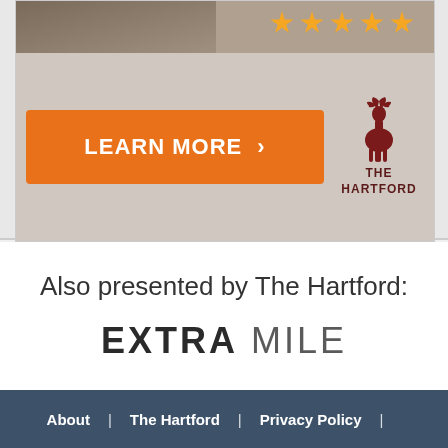[Figure (illustration): Advertisement banner for The Hartford insurance showing a 'Learn More' orange button and The Hartford stag logo]
Also presented by The Hartford:
EXTRA MILE
About | The Hartford | Privacy Policy |